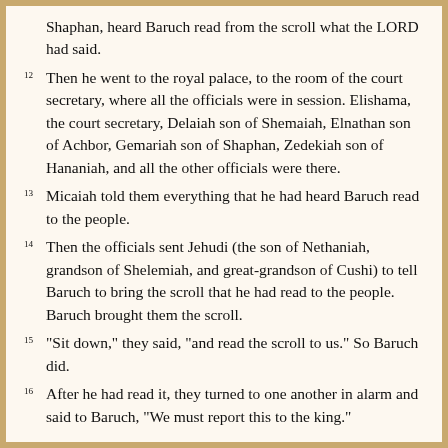Shaphan, heard Baruch read from the scroll what the LORD had said.
12Then he went to the royal palace, to the room of the court secretary, where all the officials were in session. Elishama, the court secretary, Delaiah son of Shemaiah, Elnathan son of Achbor, Gemariah son of Shaphan, Zedekiah son of Hananiah, and all the other officials were there.
13Micaiah told them everything that he had heard Baruch read to the people.
14Then the officials sent Jehudi (the son of Nethaniah, grandson of Shelemiah, and great-grandson of Cushi) to tell Baruch to bring the scroll that he had read to the people. Baruch brought them the scroll.
15"Sit down," they said, "and read the scroll to us." So Baruch did.
16After he had read it, they turned to one another in alarm and said to Baruch, "We must report this to the king."